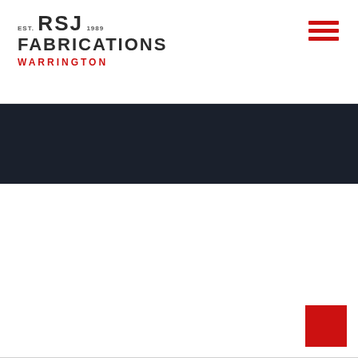[Figure (logo): RSJ Fabrications Warrington logo with EST. 1989 text]
[Figure (other): Hamburger menu icon with three red horizontal lines]
More ▶
Testimonials
Take a look at our customers reviews of the fantastic projects we have completed........